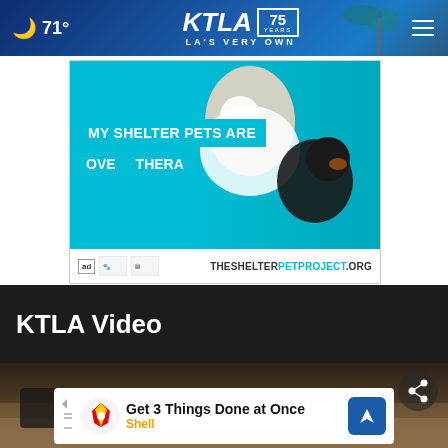71° KTLA 75 YEARS LA'S VERY OWN
[Figure (advertisement): Shelter pet adoption advertisement showing a woman with two dogs on a teal background. Text reads 'MY SHELTER PETS ARE OVE THERA'. Bottom shows logos and THESHELTERPETPROJECT.ORG]
KTLA Video
[Figure (screenshot): Video player area showing sandy/desert background, share icon, and close (X) button]
[Figure (advertisement): Shell advertisement at bottom: 'Get 3 Things Done at Once' with Shell logo and navigation arrow icon]